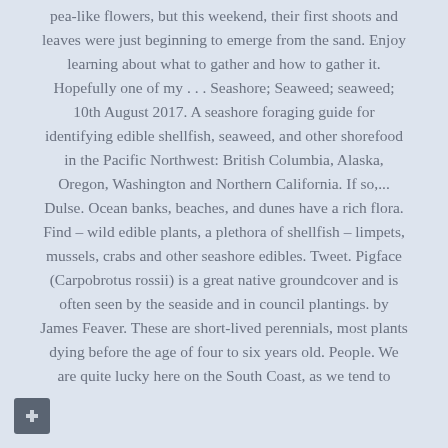pea-like flowers, but this weekend, their first shoots and leaves were just beginning to emerge from the sand. Enjoy learning about what to gather and how to gather it. Hopefully one of my . . . Seashore; Seaweed; seaweed; 10th August 2017. A seashore foraging guide for identifying edible shellfish, seaweed, and other shorefood in the Pacific Northwest: British Columbia, Alaska, Oregon, Washington and Northern California. If so,... Dulse. Ocean banks, beaches, and dunes have a rich flora. Find – wild edible plants, a plethora of shellfish – limpets, mussels, crabs and other seashore edibles. Tweet. Pigface (Carpobrotus rossii) is a great native groundcover and is often seen by the seaside and in council plantings. by James Feaver. These are short-lived perennials, most plants dying before the age of four to six years old. People. We are quite lucky here on the South Coast, as we tend to